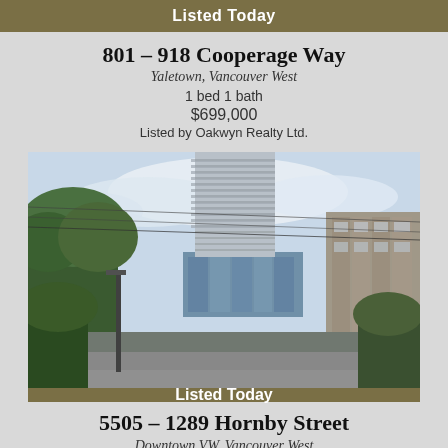Listed Today
801 – 918 Cooperage Way
Yaletown, Vancouver West
1 bed 1 bath
$699,000
Listed by Oakwyn Realty Ltd.
[Figure (photo): Exterior photo of a tall modern condominium tower in Yaletown, Vancouver, with green trees on the left and power lines across the sky]
Listed Today
5505 – 1289 Hornby Street
Downtown VW, Vancouver West
2 bed 2 bath